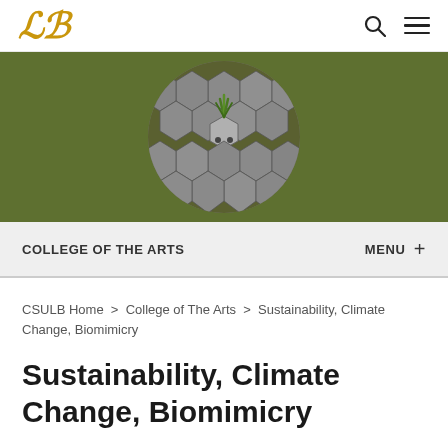LB (logo) | search | menu
[Figure (photo): Circular cropped photo of hexagonal concrete/stone pavers with green grass growing from the center piece, set against an olive green banner background.]
COLLEGE OF THE ARTS | MENU +
CSULB Home > College of The Arts > Sustainability, Climate Change, Biomimicry
Sustainability, Climate Change, Biomimicry